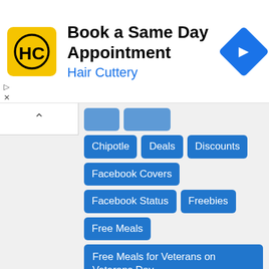[Figure (screenshot): Hair Cuttery advertisement banner: 'Book a Same Day Appointment' with HC logo and navigation arrow icon]
Chipotle
Deals
Discounts
Facebook Covers
Facebook Status
Freebies
Free Meals
Free Meals for Veterans on Veterans Day
Free Stuff for Veterans
Golden Corral
Happy Veterans Day Images
Happy Veterans Day Poems
Happy Veterans Day Quotes
Honoring Veterans
IHOP
Olive Garden
Quotes Thank You